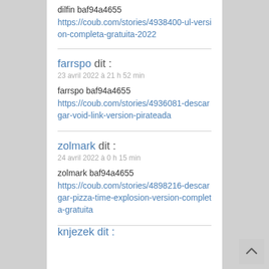dilfin baf94a4655
https://coub.com/stories/4938400-ul-version-completa-gratuita-2022
farrspo dit :
23 avril 2022 à 21 h 52 min
farrspo baf94a4655
https://coub.com/stories/4936081-descargar-void-link-version-pirateada
zolmark dit :
24 avril 2022 à 0 h 15 min
zolmark baf94a4655
https://coub.com/stories/4898216-descargar-pizza-time-explosion-version-completa-gratuita
knjezek dit :